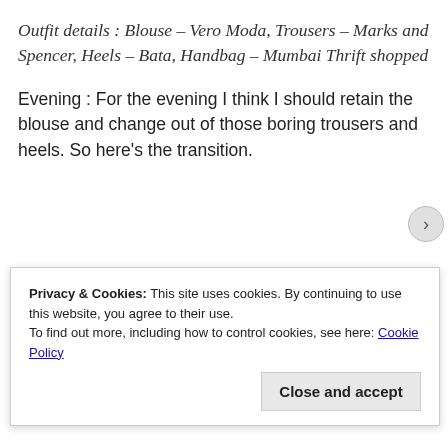Outfit details : Blouse – Vero Moda, Trousers – Marks and Spencer, Heels – Bata, Handbag – Mumbai Thrift shopped
Evening : For the evening I think I should retain the blouse and change out of those boring trousers and heels. So here's the transition.
[Figure (photo): A woman with dark hair photographed from the shoulders up against a purple/mauve textured background.]
Privacy & Cookies: This site uses cookies. By continuing to use this website, you agree to their use.
To find out more, including how to control cookies, see here: Cookie Policy
Close and accept